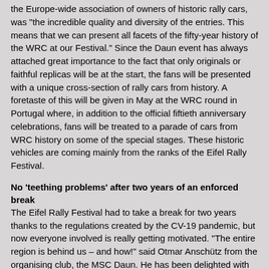the Europe-wide association of owners of historic rally cars, was "the incredible quality and diversity of the entries. This means that we can present all facets of the fifty-year history of the WRC at our Festival." Since the Daun event has always attached great importance to the fact that only originals or faithful replicas will be at the start, the fans will be presented with a unique cross-section of rally cars from history. A foretaste of this will be given in May at the WRC round in Portugal where, in addition to the official fiftieth anniversary celebrations, fans will be treated to a parade of cars from WRC history on some of the special stages. These historic vehicles are coming mainly from the ranks of the Eifel Rally Festival.
No 'teething problems' after two years of an enforced break
The Eifel Rally Festival had to take a break for two years thanks to the regulations created by the CV-19 pandemic, but now everyone involved is really getting motivated. "The entire region is behind us – and how!" said Otmar Anschütz from the organising club, the MSC Daun. He has been delighted with the response from both local residents and enthusiastic helpers. "Everyone involved is looking forward to being at the Festival with us."
Not only is the field of participants bulging, but the rush of fans wanting to attend is also reaching unprecedented heights, "We've never had so many ticket orders by this point, it's enormous, but also a huge confirmation of the work that has been done." As in the past, around 40,000 fans are expected to